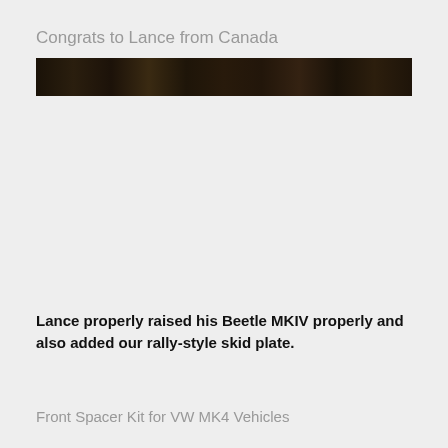Congrats to Lance from Canada
[Figure (photo): A dark, moody photo of an outdoor scene, appearing to show a vehicle or landscape with very dark tones — nearly black with faint brown/earthy tones.]
Lance properly raised his Beetle MKIV properly and also added our rally-style skid plate.
Front Spacer Kit for VW MK4 Vehicles